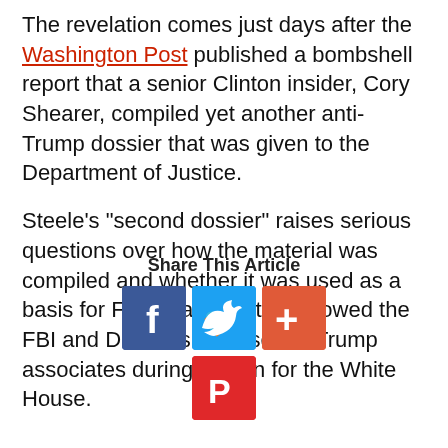The revelation comes just days after the Washington Post published a bombshell report that a senior Clinton insider, Cory Shearer, compiled yet another anti-Trump dossier that was given to the Department of Justice.
Steele's "second dossier" raises serious questions over how the material was compiled and whether it was used as a basis for FISA warrants that allowed the FBI and DOJ to surveil senior Trump associates during his run for the White House.
[Figure (infographic): Share This Article section with Facebook, Twitter, plus, and Parler social share buttons]